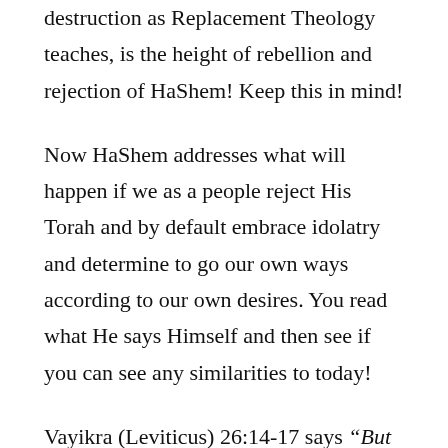destruction as Replacement Theology teaches, is the height of rebellion and rejection of HaShem! Keep this in mind!
Now HaShem addresses what will happen if we as a people reject His Torah and by default embrace idolatry and determine to go our own ways according to our own desires. You read what He says Himself and then see if you can see any similarities to today!
Vayikra (Leviticus) 26:14-17 says “But IF you